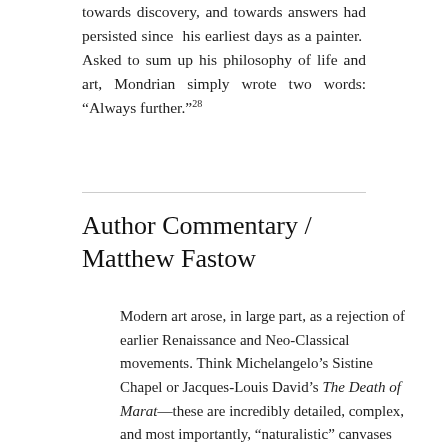towards discovery, and towards answers had persisted since his earliest days as a painter.  Asked to sum up his philosophy of life and art, Mondrian simply wrote two words: “Always further.”28
Author Commentary / Matthew Fastow
Modern art arose, in large part, as a rejection of earlier Renaissance and Neo-Classical movements. Think Michelangelo’s Sistine Chapel or Jacques-Louis David’s The Death of Marat—these are incredibly detailed, complex, and most importantly, “naturalistic” canvases (meaning they mimic what we see). Many Modernists, Mondrian included, attempted to purge their canvases of these naturalistic, hyper-detailed